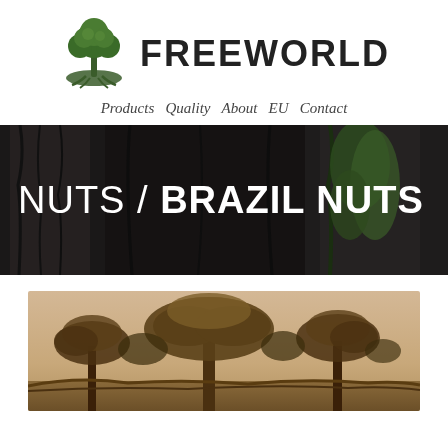[Figure (logo): Freeworld company logo with tree icon and brand name FREEWORLD]
Products  Quality  About  EU  Contact
[Figure (photo): Dark atmospheric photo of large moss-covered tree trunks in a forest, with overlay text NUTS / BRAZIL NUTS]
NUTS / BRAZIL NUTS
[Figure (photo): Sepia-toned vintage photograph of large tropical trees (Brazil nut trees) in an open landscape]